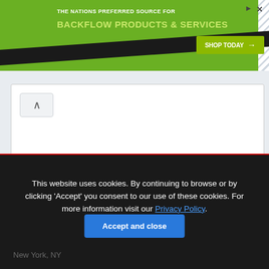[Figure (screenshot): Advertisement banner for Test Gauge Inc. with green background, showing 'THE NATIONS PREFERRED SOURCE FOR BACKFLOW PRODUCTS & SERVICES' with a 'SHOP TODAY' button and Test Gauge Inc. logo.]
[Figure (screenshot): White content panel with a chevron/collapse button at top left, content area otherwise empty.]
This website uses cookies. By continuing to browse or by clicking 'Accept' you consent to our use of these cookies. For more information visit our Privacy Policy.
Accept and close
New York, NY